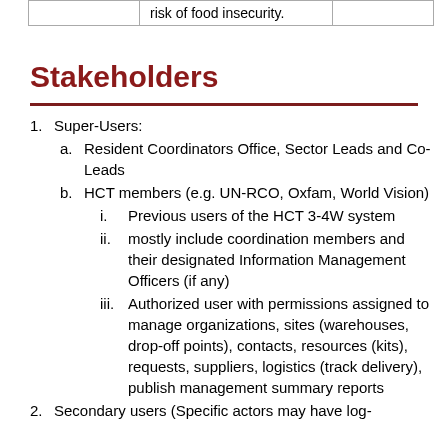|  | risk of food insecurity. |  |
Stakeholders
Super-Users:
a. Resident Coordinators Office, Sector Leads and Co-Leads
b. HCT members (e.g. UN-RCO, Oxfam, World Vision)
i. Previous users of the HCT 3-4W system
ii. mostly include coordination members and their designated Information Management Officers (if any)
iii. Authorized user with permissions assigned to manage organizations, sites (warehouses, drop-off points), contacts, resources (kits), requests, suppliers, logistics (track delivery), publish management summary reports
2. Secondary users (Specific actors may have log-